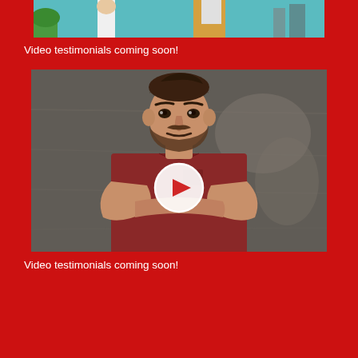[Figure (photo): Partial view of people at top of page, colorful outdoor background visible at upper portion]
Video testimonials coming soon!
[Figure (photo): Man with beard wearing a red t-shirt, arms crossed, standing against a dark textured wall. A white circular play button icon is overlaid in the center of the image.]
Video testimonials coming soon!